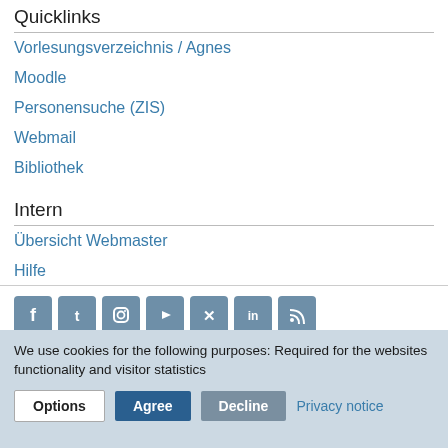Quicklinks
Vorlesungsverzeichnis / Agnes
Moodle
Personensuche (ZIS)
Webmail
Bibliothek
Intern
Übersicht Webmaster
Hilfe
Sitemap
[Figure (other): Social media icons: Facebook, Twitter, Instagram, YouTube, Xing, LinkedIn, RSS]
last modified Mar 30, 2022
edit page
We use cookies for the following purposes: Required for the websites functionality and visitor statistics
Options | Agree | Decline | Privacy notice